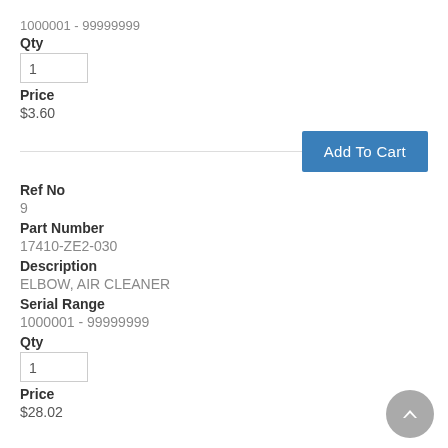1000001 - 99999999
Qty
1
Price
$3.60
Add To Cart
Ref No
9
Part Number
17410-ZE2-030
Description
ELBOW, AIR CLEANER
Serial Range
1000001 - 99999999
Qty
1
Price
$28.02